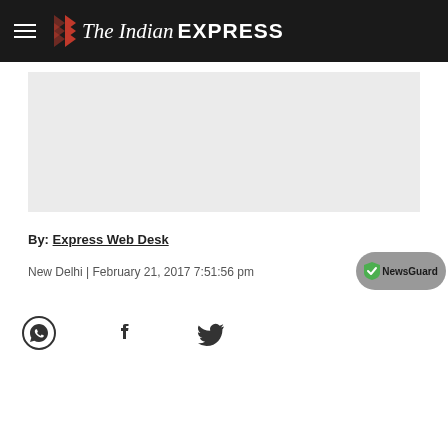The Indian EXPRESS
[Figure (other): Advertisement placeholder box (grey rectangle)]
By: Express Web Desk
New Delhi | February 21, 2017 7:51:56 pm
[Figure (logo): NewsGuard badge]
[Figure (infographic): Social share icons: WhatsApp, Facebook, Twitter]